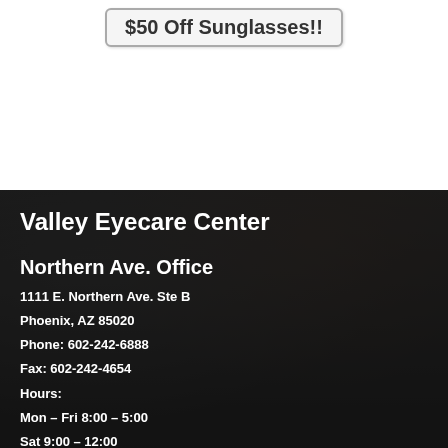$50 Off Sunglasses!!
Valley Eyecare Center
Northern Ave. Office
1111 E. Northern Ave. Ste B
Phoenix, AZ 85020
Phone: 602-242-6888
Fax: 602-242-4654
Hours:
Mon – Fri 8:00 – 5:00
Sat 9:00  – 12:00